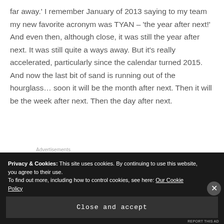far away.' I remember January of 2013 saying to my team my new favorite acronym was TYAN – 'the year after next!' And even then, although close, it was still the year after next. It was still quite a ways away. But it's really accelerated, particularly since the calendar turned 2015. And now the last bit of sand is running out of the hourglass… soon it will be the month after next. Then it will be the week after next. Then the day after next.
Advertisements
[Figure (other): Advertisement banner area with purple and gray blocks]
Privacy & Cookies: This site uses cookies. By continuing to use this website, you agree to their use.
To find out more, including how to control cookies, see here: Our Cookie Policy
Close and accept